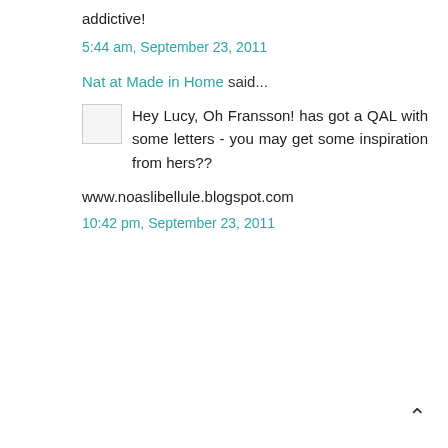addictive!
5:44 am, September 23, 2011
Nat at Made in Home said...
Hey Lucy, Oh Fransson! has got a QAL with some letters - you may get some inspiration from hers??
www.noaslibellule.blogspot.com
10:42 pm, September 23, 2011